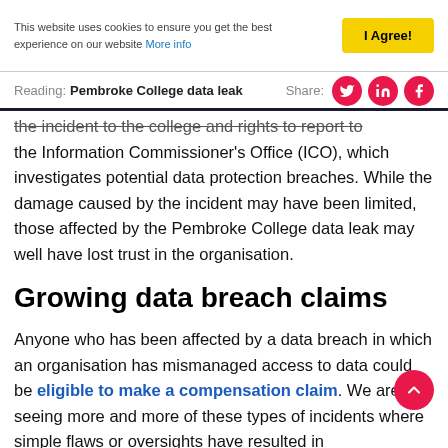This website uses cookies to ensure you get the best experience on our website More info
Reading: Pembroke College data leak   Share:
the Information Commissioner's Office (ICO), which investigates potential data protection breaches. While the damage caused by the incident may have been limited, those affected by the Pembroke College data leak may well have lost trust in the organisation.
Growing data breach claims
Anyone who has been affected by a data breach in which an organisation has mismanaged access to data could be eligible to make a compensation claim. We are seeing more and more of these types of incidents where simple flaws or oversights have resulted in a wealth of information being leaked. In the worst case